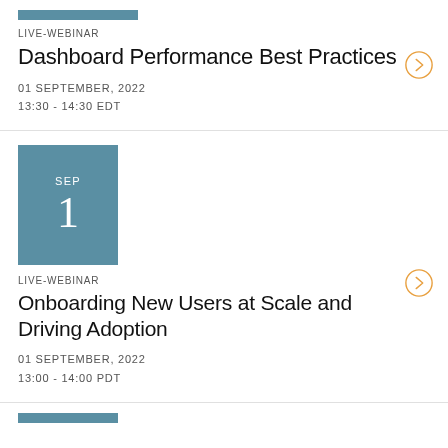[Figure (other): Teal/blue rectangular thumbnail bar for first webinar card]
LIVE-WEBINAR
Dashboard Performance Best Practices
01 SEPTEMBER, 2022
13:30 - 14:30 EDT
[Figure (other): Calendar date box showing SEP 1 in teal/steel blue]
LIVE-WEBINAR
Onboarding New Users at Scale and Driving Adoption
01 SEPTEMBER, 2022
13:00 - 14:00 PDT
[Figure (other): Teal/blue rectangular thumbnail bar for third webinar card (partial)]